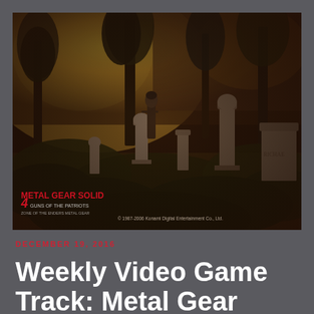[Figure (screenshot): A sepia-toned screenshot from Metal Gear Solid 4 showing a cemetery scene with gravestones, overgrown vegetation, bare trees, and a figure standing among the graves. The sky has a yellowish-orange glow. In the lower left is the Metal Gear Solid 4 logo in red and white. In the lower right is copyright text reading '© 1987-2006 Konami Digital Entertainment Co., Ltd.']
DECEMBER 19, 2016
Weekly Video Game Track: Metal Gear Solid 4 Main Menu